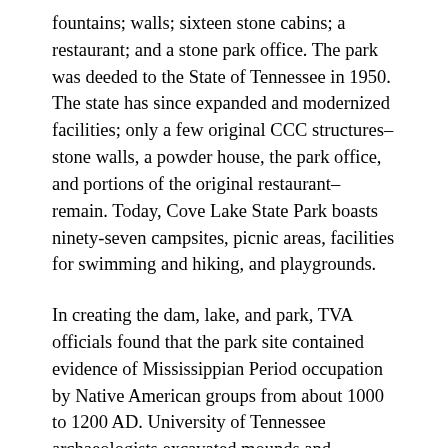fountains; walls; sixteen stone cabins; a restaurant; and a stone park office. The park was deeded to the State of Tennessee in 1950. The state has since expanded and modernized facilities; only a few original CCC structures–stone walls, a powder house, the park office, and portions of the original restaurant–remain. Today, Cove Lake State Park boasts ninety-seven campsites, picnic areas, facilities for swimming and hiking, and playgrounds.
In creating the dam, lake, and park, TVA officials found that the park site contained evidence of Mississippian Period occupation by Native American groups from about 1000 to 1200 AD. University of Tennessee archaeologists excavated mounds and habitation sites in 1937. Remnants of one site are still visible at the park's Duck Island.